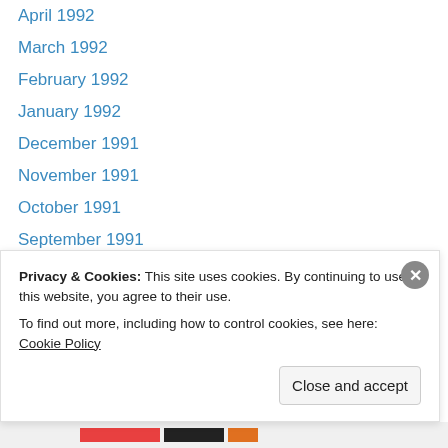April 1992
March 1992
February 1992
January 1992
December 1991
November 1991
October 1991
September 1991
July 1991
June 1991
May 1991
March 1991
February 1991
November 1990
Privacy & Cookies: This site uses cookies. By continuing to use this website, you agree to their use. To find out more, including how to control cookies, see here: Cookie Policy